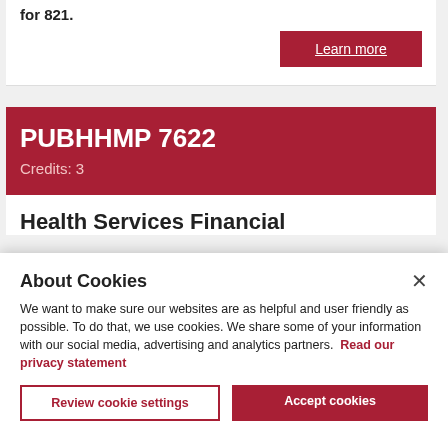for 821.
Learn more
PUBHHMP 7622
Credits: 3
Health Services Financial
About Cookies
We want to make sure our websites are as helpful and user friendly as possible. To do that, we use cookies. We share some of your information with our social media, advertising and analytics partners.  Read our privacy statement
Review cookie settings
Accept cookies